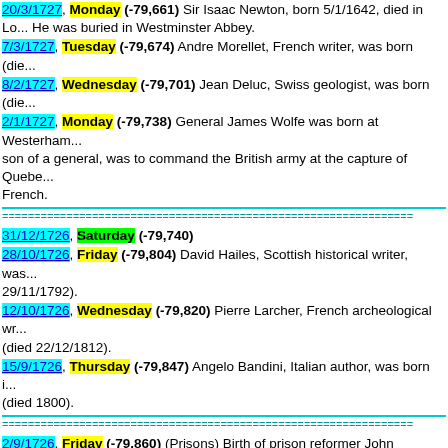20/3/1727, Monday (-79,661) Sir Isaac Newton, born 5/1/1642, died in Lo... He was buried in Westminster Abbey.
7/3/1727, Tuesday (-79,674) Andre Morellet, French writer, was born (died...
8/2/1727, Wednesday (-79,701) Jean Deluc, Swiss geologist, was born (die...
2/1/1727, Monday (-79,738) General James Wolfe was born at Westerham... son of a general, was to command the British army at the capture of Quebe... French.
31/12/1726, Saturday (-79,740)
28/10/1726, Friday (-79,804) David Hailes, Scottish historical writer, was... 29/11/1792).
12/10/1726, Wednesday (-79,820) Pierre Larcher, French archeological wr... (died 22/12/1812).
15/9/1726, Thursday (-79,847) Angelo Bandini, Italian author, was born i... (died 1800).
2/9/1726, Friday (-79,860) (Prisons) Birth of prison reformer John Howar... campaigner for better conditions for prisoners and wages for gaolers.
7/8/1726, Sunday (-79,886) James Bowdoin, US politician, was born in Bo... Massachusetts (died in Massachusetts 11/10/1811).
30/7/1726, Saturday (-79,894) William Jones, English religious writer, wa... 6/1/1800).
28/7/1726, Thursday (-79,896) (Clothing) Jedediah Strutt was born in De... England. In 1758 he invented the ribbing machine for the manufacture o...
8/7/1726, Friday (-79,916) John Ker, British spy, died (born 8/8/1673).
27/6/1726, Monday (-79,927) Nicolas Bernoulli, mathematician, died (bo...